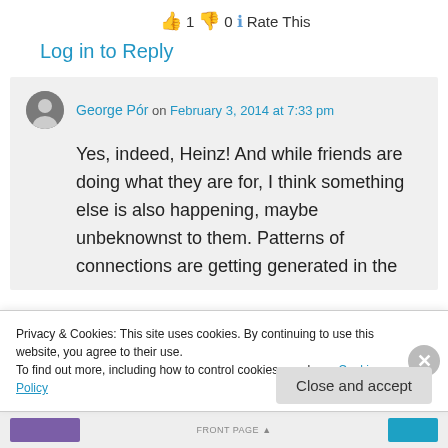👍 1 👎 0 ℹ Rate This
Log in to Reply
George Pór on February 3, 2014 at 7:33 pm
Yes, indeed, Heinz! And while friends are doing what they are for, I think something else is also happening, maybe unbeknownst to them. Patterns of connections are getting generated in the
Privacy & Cookies: This site uses cookies. By continuing to use this website, you agree to their use. To find out more, including how to control cookies, see here: Cookie Policy
Close and accept